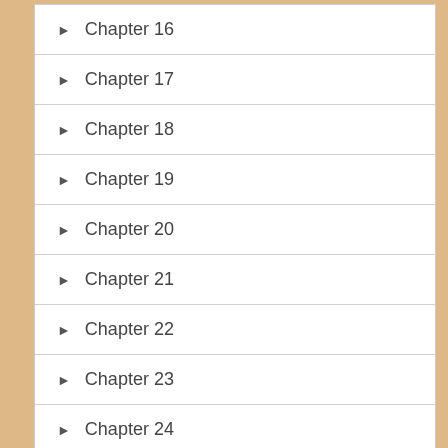► Chapter 16
► Chapter 17
► Chapter 18
► Chapter 19
► Chapter 20
► Chapter 21
► Chapter 22
► Chapter 23
► Chapter 24
► Chapter 25
► Chapter 26